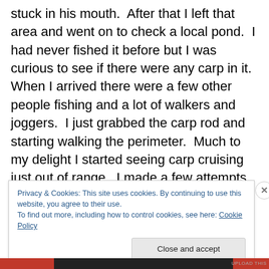stuck in his mouth.  After that I left that area and went on to check a local pond.  I had never fished it before but I was curious to see if there were any carp in it.  When I arrived there were a few other people fishing and a lot of walkers and joggers.  I just grabbed the carp rod and starting walking the perimeter.  Much to my delight I started seeing carp cruising just out of range.  I made a few attempts but it was obvious these fish were on high alert from all the foot traffic.  I headed for home and decided I would come back the next morning ahead of the crowds.
Privacy & Cookies: This site uses cookies. By continuing to use this website, you agree to their use.
To find out more, including how to control cookies, see here: Cookie Policy